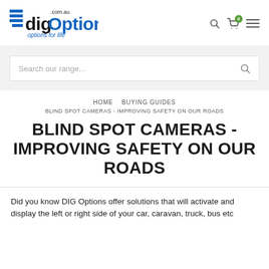[Figure (logo): digOptions.com.au logo with blue and dark text and tagline 'options for life']
Search our range...
HOME  BUYING GUIDES
BLIND SPOT CAMERAS - IMPROVING SAFETY ON OUR ROADS
BLIND SPOT CAMERAS - IMPROVING SAFETY ON OUR ROADS
Did you know DIG Options offer solutions that will activate and display the left or right side of your car, caravan, truck, bus etc